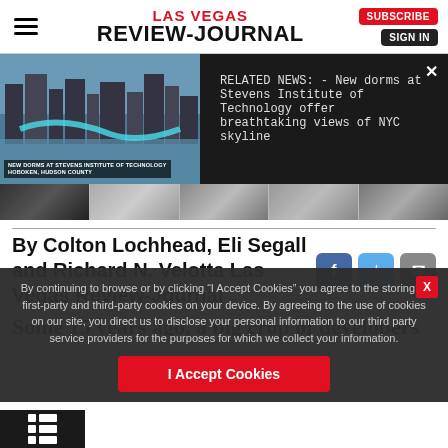Las Vegas Review-Journal
[Figure (screenshot): Related news banner with photo of city skyline and text: RELATED NEWS: - New dorms at Stevens Institute of Technology offer breathtaking views of NYC skyline]
[Figure (photo): Strip of thumbnail images]
By Colton Lochhead, Eli Segall and Richard N. Velotta Las Vegas Review-Journal
[Figure (infographic): Cookie consent banner overlay: By continuing to browse or by clicking "I Accept Cookies" you agree to the storing of first-party and third-party cookies on your device. By agreeing to the use of cookies on our site, you direct us to disclose your personal information to our third party service providers for the purposes for which we collect your information. I Accept Cookies button.]
Some 15 years ago, a big crop of developers